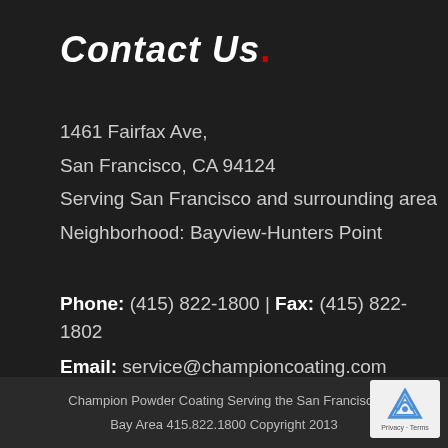Contact Us.
1461 Fairfax Ave,
San Francisco, CA 94124
Serving San Francisco and surrounding area
Neighborhood: Bayview-Hunters Point
Phone: (415) 822-1800 | Fax: (415) 822-1802
Email: service@championcoating.com
Hours: Mon-Fri 8 am – 4:30 pm
Champion Powder Coating Serving the San Francisco Bay Area 415.822.1800 Copyright 2013